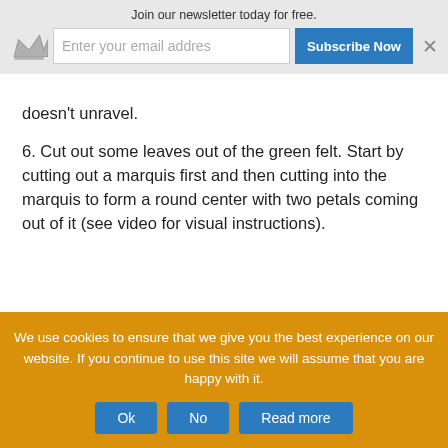Join our newsletter today for free.
Enter your email addres  Subscribe Now  ×
doesn't unravel.
6. Cut out some leaves out of the green felt. Start by cutting out a marquis first and then cutting into the marquis to form a round center with two petals coming out of it (see video for visual instructions).
We use cookies to ensure that we give you the best experience on our website. If you continue to use this site we will assume that you are happy with it.